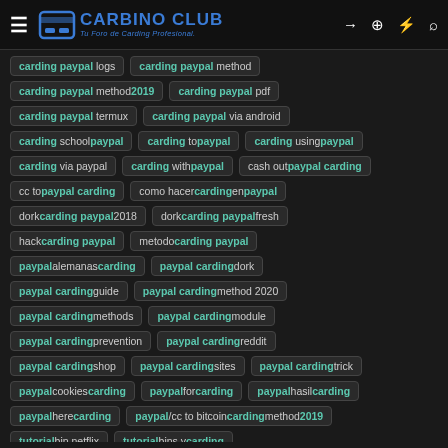CARBINO CLUB - Tu Foro de Carding Profesional
carding paypal logs
carding paypal method
carding paypal method 2019
carding paypal pdf
carding paypal termux
carding paypal via android
carding school paypal
carding to paypal
carding using paypal
carding via paypal
carding with paypal
cash out paypal carding
cc to paypal carding
como hacer carding en paypal
dork carding paypal 2018
dork carding paypal fresh
hack carding paypal
metodo carding paypal
paypal alemanas carding
paypal carding dork
paypal carding guide
paypal carding method 2020
paypal carding methods
paypal carding module
paypal carding prevention
paypal carding reddit
paypal carding shop
paypal carding sites
paypal carding trick
paypal cookies carding
paypal for carding
paypal hasil carding
paypal here carding
paypal/cc to bitcoin carding method 2019
tutorial bin netflix
tutorial bins y carding
tutorial carding paypal 2018
tutorial carding paypal 2019